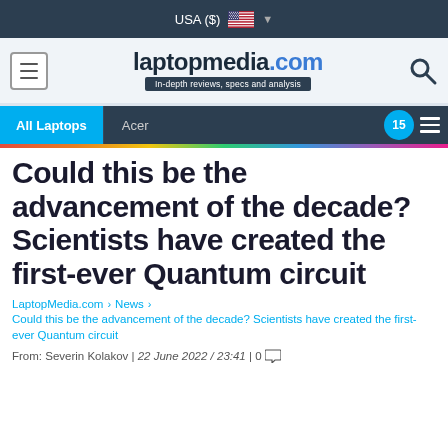USA ($)
[Figure (logo): laptopmedia.com logo with tagline 'In-depth reviews, specs and analysis']
All Laptops | Acer | 15
Could this be the advancement of the decade? Scientists have created the first-ever Quantum circuit
LaptopMedia.com > News > Could this be the advancement of the decade? Scientists have created the first-ever Quantum circuit
From: Severin Kolakov | 22 June 2022 / 23:41 | 0